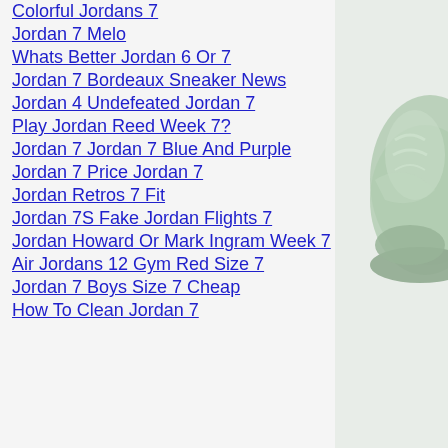Colorful Jordans 7
Jordan 7 Melo
Whats Better Jordan 6 Or 7
Jordan 7 Bordeaux Sneaker News
Jordan 4 Undefeated Jordan 7
Play Jordan Reed Week 7?
Jordan 7 Jordan 7 Blue And Purple
Jordan 7 Price Jordan 7
Jordan Retros 7 Fit
Jordan 7S Fake Jordan Flights 7
Jordan Howard Or Mark Ingram Week 7
Air Jordans 12 Gym Red Size 7
Jordan 7 Boys Size 7 Cheap
How To Clean Jordan 7
[Figure (photo): Partial image of a green/mint colored sneaker (Jordan shoe) on the right side of the page]